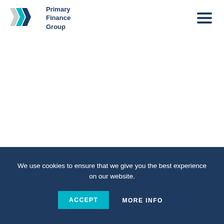[Figure (logo): Primary Finance Group logo with teal and dark blue chevron arrows and company name text]
We use cookies to ensure that we give you the best experience on our website.
ACCEPT
MORE INFO